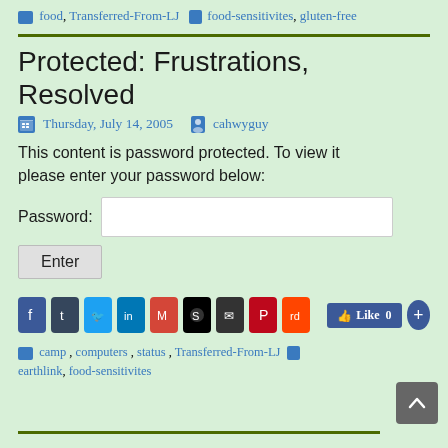food, Transferred-From-LJ  food-sensitivites, gluten-free
Protected: Frustrations, Resolved
Thursday, July 14, 2005  cahwyguy
This content is password protected. To view it please enter your password below:
Password: [input field] Enter
[Figure (infographic): Social share buttons: Facebook, Tumblr, Twitter, LinkedIn, Gmail, StumbleUpon, Email, Pinterest, Reddit, Facebook Like button (0), Share button]
camp, computers, status, Transferred-From-LJ  earthlink, food-sensitivites